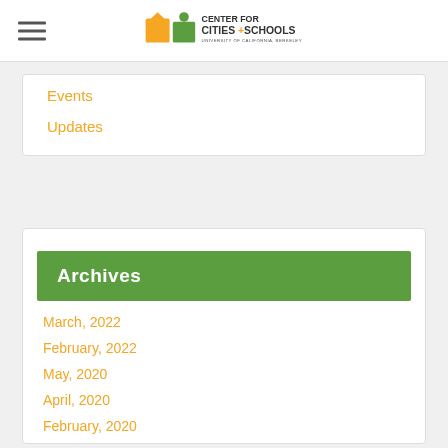Center for Cities + Schools — University of California, Berkeley
Events
Updates
Archives
March, 2022
February, 2022
May, 2020
April, 2020
February, 2020
January, 2020
October, 2019